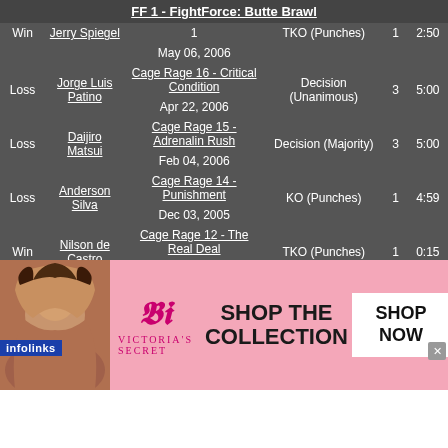| Result | Fighter | Event | Method | Round | Time |
| --- | --- | --- | --- | --- | --- |
| Win | Jerry Spiegel | FF 1 - FightForce: Butte Brawl
May 06, 2006 | TKO (Punches) | 1 | 2:50 |
| Loss | Jorge Luis Patino | Cage Rage 16 - Critical Condition
Apr 22, 2006 | Decision (Unanimous) | 3 | 5:00 |
| Loss | Daijiro Matsui | Cage Rage 15 - Adrenalin Rush
Feb 04, 2006 | Decision (Majority) | 3 | 5:00 |
| Loss | Anderson Silva | Cage Rage 14 - Punishment
Dec 03, 2005 | KO (Punches) | 1 | 4:59 |
| Win | Nilson de Castro | Cage Rage 12 - The Real Deal
Jul 02, 2005 | TKO (Punches) | 1 | 0:15 |
|  | Mark Weir | Cage Rage 11 - Face Off
... | TKO (Punches) | 1 | 1:45 |
[Figure (photo): Victoria's Secret advertisement banner with woman model, VS logo, 'SHOP THE COLLECTION' text, and 'SHOP NOW' button]